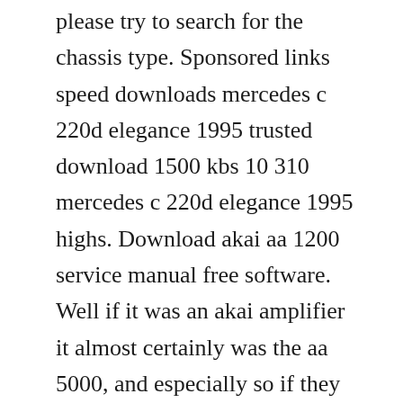please try to search for the chassis type. Sponsored links speed downloads mercedes c 220d elegance 1995 trusted download 1500 kbs 10 310 mercedes c 220d elegance 1995 highs. Download akai aa 1200 service manual free software. Well if it was an akai amplifier it almost certainly was the aa 5000, and especially so if they were into reeltoreel. This printed publication covers three of akais receivers with a single black and white photograph on the front cover, and associated key features summary and full specifications listing at the back cover of this publication.